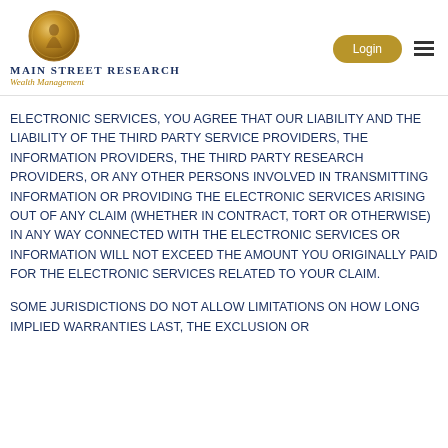[Figure (logo): Main Street Research Wealth Management logo with bronze medallion coin graphic]
ELECTRONIC SERVICES, YOU AGREE THAT OUR LIABILITY AND THE LIABILITY OF THE THIRD PARTY SERVICE PROVIDERS, THE INFORMATION PROVIDERS, THE THIRD PARTY RESEARCH PROVIDERS, OR ANY OTHER PERSONS INVOLVED IN TRANSMITTING INFORMATION OR PROVIDING THE ELECTRONIC SERVICES ARISING OUT OF ANY CLAIM (WHETHER IN CONTRACT, TORT OR OTHERWISE) IN ANY WAY CONNECTED WITH THE ELECTRONIC SERVICES OR INFORMATION WILL NOT EXCEED THE AMOUNT YOU ORIGINALLY PAID FOR THE ELECTRONIC SERVICES RELATED TO YOUR CLAIM.
SOME JURISDICTIONS DO NOT ALLOW LIMITATIONS ON HOW LONG IMPLIED WARRANTIES LAST, THE EXCLUSION OR